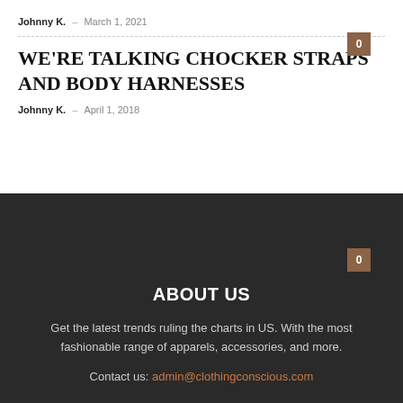Johnny K. – March 1, 2021
WE'RE TALKING CHOCKER STRAPS AND BODY HARNESSES
Johnny K. – April 1, 2018
ABOUT US
Get the latest trends ruling the charts in US. With the most fashionable range of apparels, accessories, and more.
Contact us: admin@clothingconscious.com